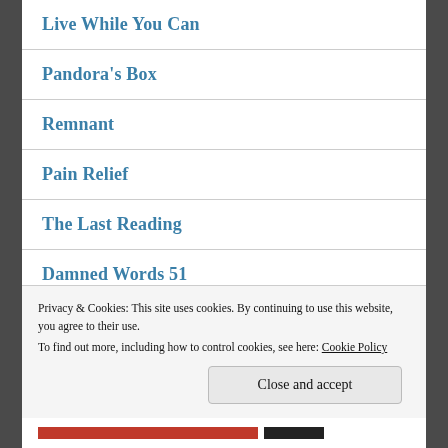Live While You Can
Pandora's Box
Remnant
Pain Relief
The Last Reading
Damned Words 51
Wizard and Waif
Privacy & Cookies: This site uses cookies. By continuing to use this website, you agree to their use.
To find out more, including how to control cookies, see here: Cookie Policy
Close and accept